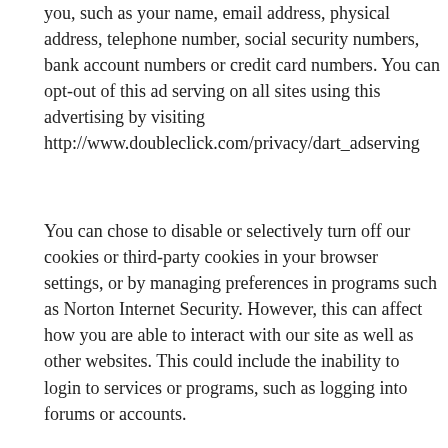you, such as your name, email address, physical address, telephone number, social security numbers, bank account numbers or credit card numbers. You can opt-out of this ad serving on all sites using this advertising by visiting http://www.doubleclick.com/privacy/dart_adserving
You can chose to disable or selectively turn off our cookies or third-party cookies in your browser settings, or by managing preferences in programs such as Norton Internet Security. However, this can affect how you are able to interact with our site as well as other websites. This could include the inability to login to services or programs, such as logging into forums or accounts.